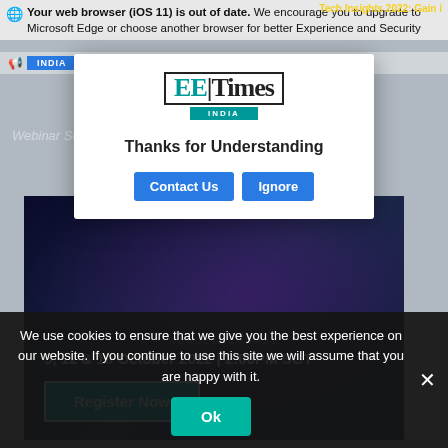Your web browser (iOS 11) is out of date. We encourage you to upgrade to Microsoft Edge or choose another browser for better Experience and Security
Tech Insights 2022: Gain i
INDIA
Continue... the Site
[Figure (screenshot): EE Times India modal dialog with logo, 'Thanks for Understanding' message, and Contact Us / Ignore buttons]
Thanks for Understanding
Contact Us
Ignore
[Figure (photo): Webinar banner with dark background showing ROHDE&SCHWARZ branding, date 5, 12 & 19 October 2022 | 2:00PM SGT, and Register Now button]
5, 12 & 19 October 2022 | 2:00PM SGT
Register Now
We use cookies to ensure that we give you the best experience on our website. If you continue to use this site we will assume that you are happy with it.
Ok